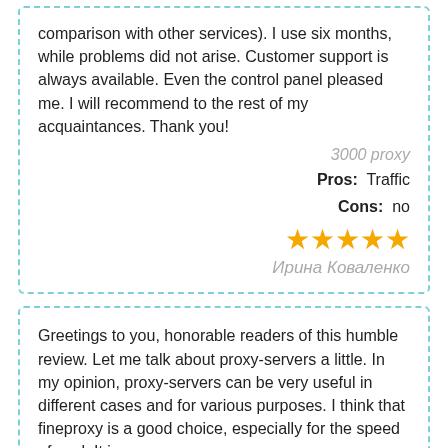comparison with other services). I use six months, while problems did not arise. Customer support is always available. Even the control panel pleased me. I will recommend to the rest of my acquaintances. Thank you!
3000 proxy
Pros: Traffic
Cons: no
[Figure (other): Five gold stars rating]
Ирина Коваленко
Greetings to you, honorable readers of this humble review. Let me talk about proxy-servers a little. In my opinion, proxy-servers can be very useful in different cases and for various purposes. I think that fineproxy is a good choice, especially for the speed of work.It is